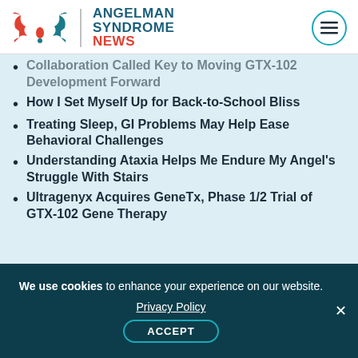Angelman Syndrome News
Collaboration Called Key to Moving GTX-102 Development Forward
How I Set Myself Up for Back-to-School Bliss
Treating Sleep, GI Problems May Help Ease Behavioral Challenges
Understanding Ataxia Helps Me Endure My Angel's Struggle With Stairs
Ultragenyx Acquires GeneTx, Phase 1/2 Trial of GTX-102 Gene Therapy
We use cookies to enhance your experience on our website. Privacy Policy ACCEPT